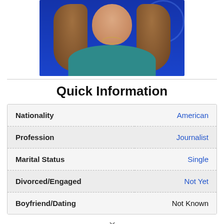[Figure (photo): Portrait photo of a woman with long wavy brown hair, wearing a teal top and gold necklace, against a blue background]
Quick Information
| Field | Value |
| --- | --- |
| Nationality | American |
| Profession | Journalist |
| Marital Status | Single |
| Divorced/Engaged | Not Yet |
| Boyfriend/Dating | Not Known |